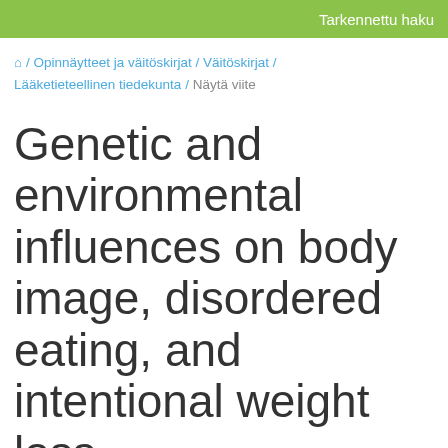Tarkennettu haku
🏠 / Opinnäytteet ja väitöskirjat / Väitöskirjat / Lääketieteellinen tiedekunta / Näytä viite
Genetic and environmental influences on body image, disordered eating, and intentional weight loss